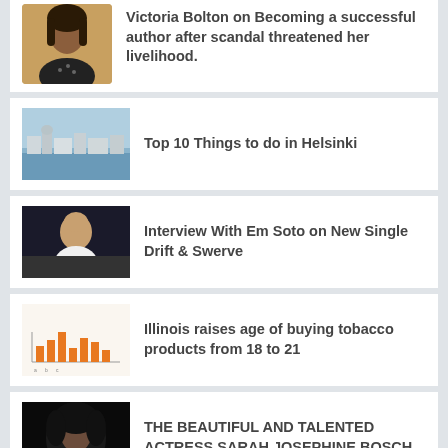Victoria Bolton on Becoming a successful author after scandal threatened her livelihood.
Top 10 Things to do in Helsinki
Interview With Em Soto on New Single Drift & Swerve
Illinois raises age of buying tobacco products from 18 to 21
THE BEAUTIFUL AND TALENTED ACTRESS SARAH JOSEPHINE BOSCH
Apple Vs FBI: All you need to know
My Cloud FX – Blockchain Technology for Bank